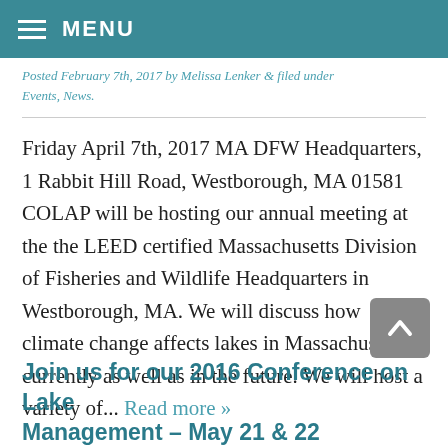MENU
Posted February 7th, 2017 by Melissa Lenker & filed under Events, News.
Friday April 7th, 2017 MA DFW Headquarters, 1 Rabbit Hill Road, Westborough, MA 01581 COLAP will be hosting our annual meeting at the the LEED certified Massachusetts Division of Fisheries and Wildlife Headquarters in Westborough, MA. We will discuss how climate change affects lakes in Massachusetts, currently as well as in the future. We will host a variety of... Read more »
Join us for our 2016 Conference on Lake Management – May 21 & 22